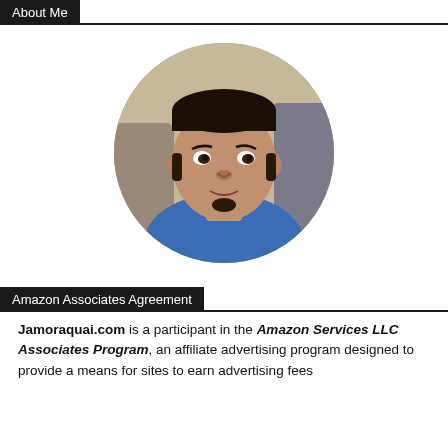About Me
[Figure (photo): Circular profile photo of a young man sitting in a car, wearing a blue shirt]
Amazon Associates Agreement
Jamoraquai.com is a participant in the Amazon Services LLC Associates Program, an affiliate advertising program designed to provide a means for sites to earn advertising fees